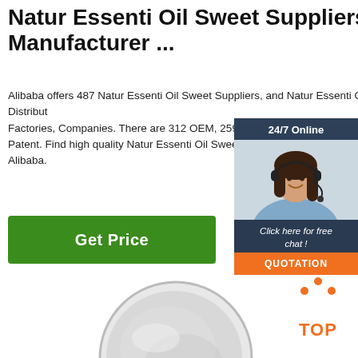Natur Essenti Oil Sweet Suppliers, Manufacturer ...
Alibaba offers 487 Natur Essenti Oil Sweet Suppliers, and Natur Essenti Oil Sweet Manufacturers, Distributors, Factories, Companies. There are 312 OEM, 259 Patent. Find high quality Natur Essenti Oil Sweet Alibaba.
[Figure (other): Green 'Get Price' button]
[Figure (other): 24/7 Online chat widget with customer service photo, 'Click here for free chat!' text, and orange QUOTATION button]
[Figure (photo): Photo of a white/grey powder product in a round dish or bowl]
[Figure (other): Orange TOP navigation icon with dots above and the word TOP]